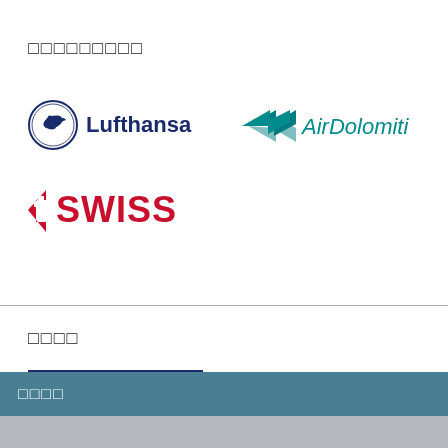□□□□□□□□□
[Figure (logo): Lufthansa airline logo with crane symbol and bold dark blue text]
[Figure (logo): Air Dolomiti logo with teal wing/arrow graphic and teal text]
[Figure (logo): SWISS airline logo with red arrow/cross and bold red SWISS text]
□□□□
[Figure (logo): Lufthansa World Shop logo: bordered box with World Shop text and Lufthansa branding]
□□□□